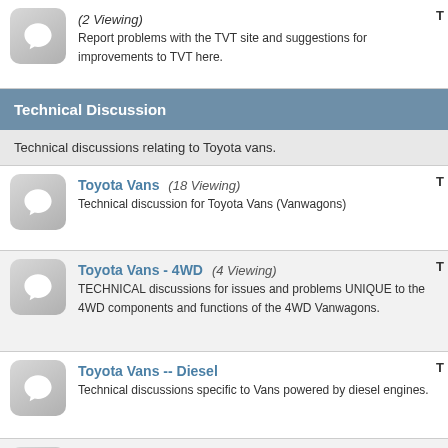(2 Viewing) Report problems with the TVT site and suggestions for improvements to TVT here.
Technical Discussion
Technical discussions relating to Toyota vans.
Toyota Vans (18 Viewing) Technical discussion for Toyota Vans (Vanwagons)
Toyota Vans - 4WD (4 Viewing) TECHNICAL discussions for issues and problems UNIQUE to the 4WD components and functions of the 4WD Vanwagons.
Toyota Vans -- Diesel Technical discussions specific to Vans powered by diesel engines.
Toyota Previas (10 Viewing) Technical discussion for Previas, 2WD and AWD
General How-To's (1 Viewing) General technical how-to's. These should apply to any vehicle.